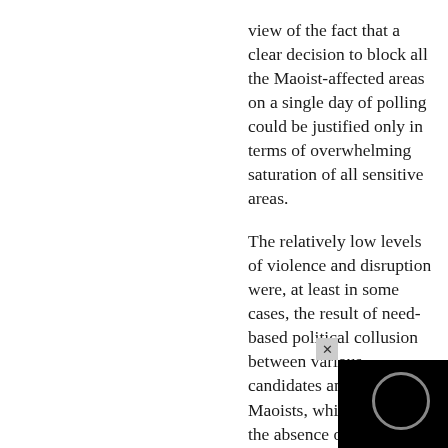view of the fact that a clear decision to block all the Maoist-affected areas on a single day of polling could be justified only in terms of overwhelming saturation of all sensitive areas.

The relatively low levels of violence and disruption were, at least in some cases, the result of need-based political collusion between various candidates and the Maoists, which ensured the absence of attacks in a number of vul... polling station...